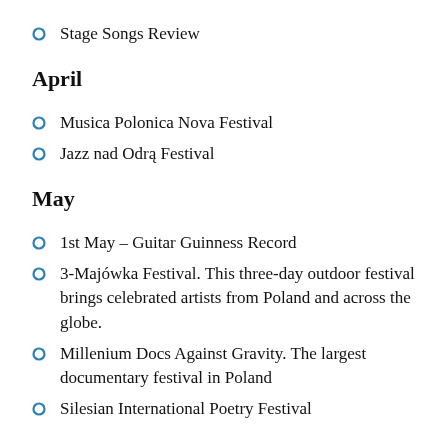Stage Songs Review
April
Musica Polonica Nova Festival
Jazz nad Odrą Festival
May
1st May – Guitar Guinness Record
3-Majówka Festival. This three-day outdoor festival brings celebrated artists from Poland and across the globe.
Millenium Docs Against Gravity. The largest documentary festival in Poland
Silesian International Poetry Festival